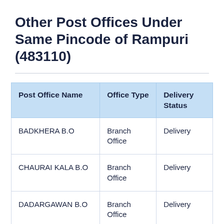Other Post Offices Under Same Pincode of Rampuri (483110)
| Post Office Name | Office Type | Delivery Status |
| --- | --- | --- |
| BADKHERA B.O | Branch Office | Delivery |
| CHAURAI KALA B.O | Branch Office | Delivery |
| DADARGAWAN B.O | Branch Office | Delivery |